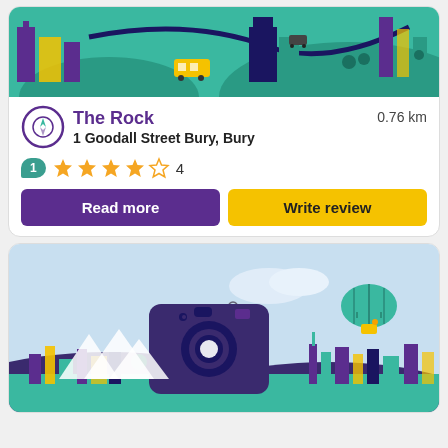[Figure (illustration): Illustrated city scene with purple buildings, teal hills, yellow bus, dark blue winding road on top card]
The Rock
1 Goodall Street Bury, Bury
0.76 km
1  ★★★★☆  4
Read more
Write review
[Figure (illustration): Illustrated landscape scene with light blue sky, camera icon, hot air balloon, mountains, and city skyline in purple and teal]